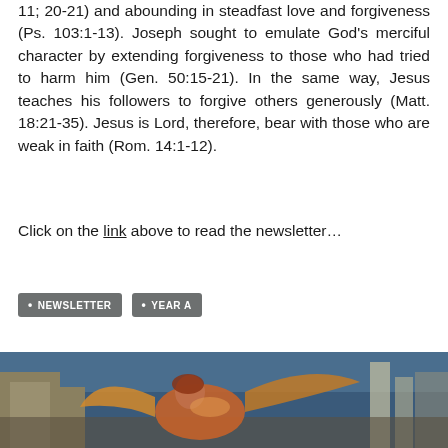11; 20-21) and abounding in steadfast love and forgiveness (Ps. 103:1-13). Joseph sought to emulate God's merciful character by extending forgiveness to those who had tried to harm him (Gen. 50:15-21). In the same way, Jesus teaches his followers to forgive others generously (Matt. 18:21-35). Jesus is Lord, therefore, bear with those who are weak in faith (Rom. 14:1-12).
Click on the link above to read the newsletter…
NEWSLETTER
YEAR A
[Figure (illustration): Classical painting of an angel figure with wings, set against an urban background with blue tones]